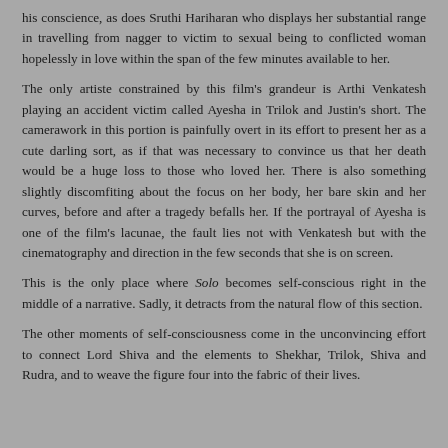his conscience, as does Sruthi Hariharan who displays her substantial range in travelling from nagger to victim to sexual being to conflicted woman hopelessly in love within the span of the few minutes available to her.
The only artiste constrained by this film's grandeur is Arthi Venkatesh playing an accident victim called Ayesha in Trilok and Justin's short. The camerawork in this portion is painfully overt in its effort to present her as a cute darling sort, as if that was necessary to convince us that her death would be a huge loss to those who loved her. There is also something slightly discomfiting about the focus on her body, her bare skin and her curves, before and after a tragedy befalls her. If the portrayal of Ayesha is one of the film's lacunae, the fault lies not with Venkatesh but with the cinematography and direction in the few seconds that she is on screen.
This is the only place where Solo becomes self-conscious right in the middle of a narrative. Sadly, it detracts from the natural flow of this section.
The other moments of self-consciousness come in the unconvincing effort to connect Lord Shiva and the elements to Shekhar, Trilok, Shiva and Rudra, and to weave the figure four into the fabric of their lives.